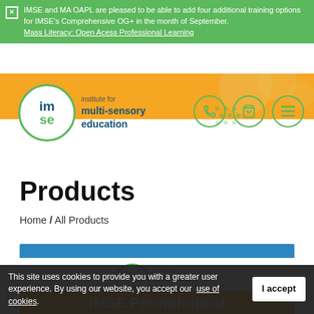IMSE and MA OAPL are pleased to be able to add four additional training options for IMSE’s Comprehensive OG+ in the month of September. Mass Literacy: Open Acess Professional Learning
[Figure (logo): IMSE - Institute for Multi-Sensory Education logo with green circle border and navigation icons (phone, shopping bag, menu)]
Products
Home / All Products
[Figure (logo): IMSE product card with blue bar and IMSE logo]
IMSE Phonological
This site uses cookies to provide you with a greater user experience. By using our website, you accept our use of cookies.